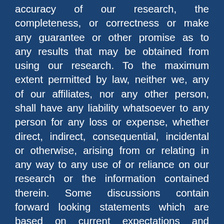accuracy of our research, the completeness, or correctness or make any guarantee or other promise as to any results that may be obtained from using our research. To the maximum extent permitted by law, neither we, any of our affiliates, nor any other person, shall have any liability whatsoever to any person for any loss or expense, whether direct, indirect, consequential, incidental or otherwise, arising from or relating in any way to any use of or reliance on our research or the information contained therein. Some discussions contain forward looking statements which are based on current expectations and differences can be expected. All of our research, including the estimates, opinions and